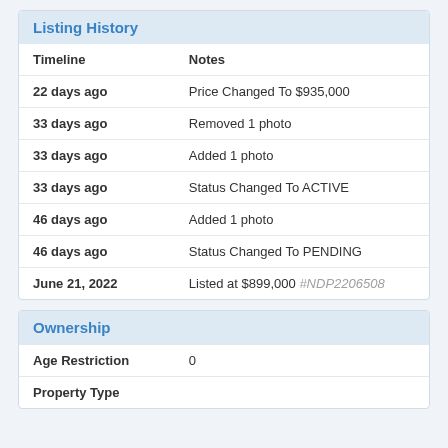Listing History
| Timeline | Notes |
| --- | --- |
| 22 days ago | Price Changed To $935,000 |
| 33 days ago | Removed 1 photo |
| 33 days ago | Added 1 photo |
| 33 days ago | Status Changed To ACTIVE |
| 46 days ago | Added 1 photo |
| 46 days ago | Status Changed To PENDING |
| June 21, 2022 | Listed at $899,000 #NDP2206508 |
Ownership
| Age Restriction | 0 |
| Property Type |  |